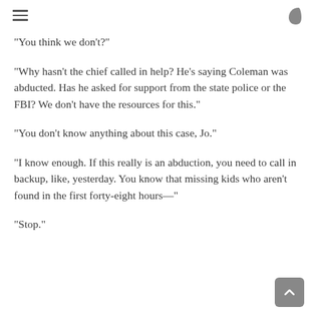≡ )
“You think we don’t?”
“Why hasn’t the chief called in help? He’s saying Coleman was abducted. Has he asked for support from the state police or the FBI? We don’t have the resources for this.”
“You don’t know anything about this case, Jo.”
“I know enough. If this really is an abduction, you need to call in backup, like, yesterday. You know that missing kids who aren’t found in the first forty-eight hours—”
“Stop.”